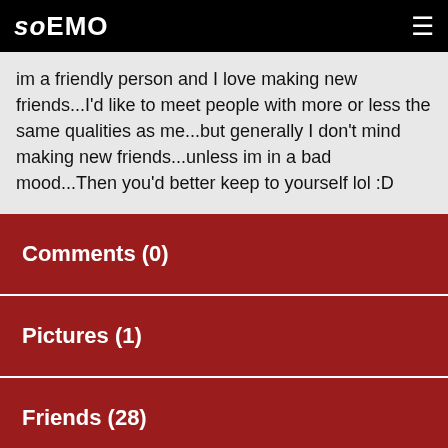soEMO
im a friendly person and I love making new friends...I'd like to meet people with more or less the same qualities as me...but generally I don't mind making new friends...unless im in a bad mood...Then you'd better keep to yourself lol :D
Comments (0)
Pictures (1)
Friends (28)
Journal (0)